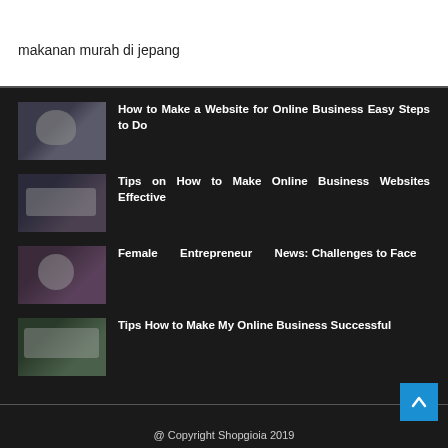makanan murah di jepang
How to Make a Website for Online Business Easy Steps to Do
Tips on How to Make Online Business Websites Effective
Female Entrepreneur News: Challenges to Face
Tips How to Make My Online Business Successful
@ Copyright Shopgioia 2019